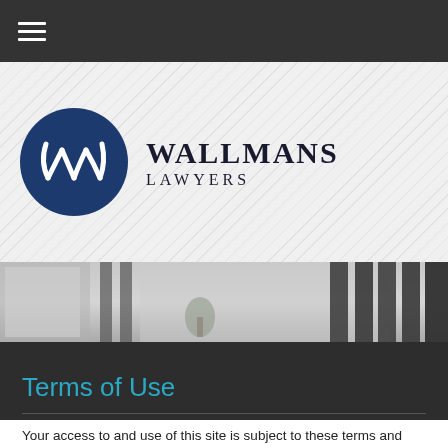[Figure (logo): Wallmans Lawyers logo — dark navy blue circle with stylized W letterform in white, accompanied by firm name WALLMANS LAWYERS in serif font]
[Figure (photo): Black and white photograph of a law office interior showing columns, curtains and a plant]
Terms of Use
Your access to and use of this site is subject to these terms and conditions and all applicable laws. On accessing this site, you